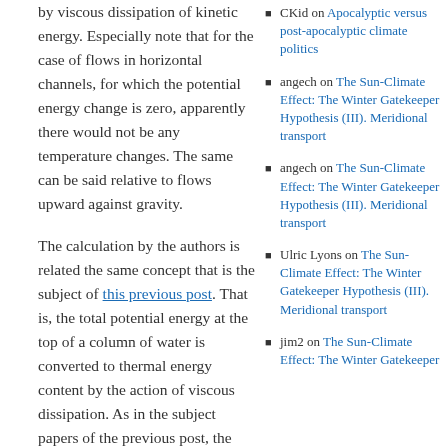by viscous dissipation of kinetic energy. Especially note that for the case of flows in horizontal channels, for which the potential energy change is zero, apparently there would not be any temperature changes. The same can be said relative to flows upward against gravity.
The calculation by the authors is related the same concept that is the subject of this previous post. That is, the total potential energy at the top of a column of water is converted to thermal energy content by the action of viscous dissipation. As in the subject papers of the previous post, the temperature increase is too high.
When the process is considered to be compression of subcooled liquid water isolated from interactions with its surroundings, the
CKid on Apocalyptic versus post-apocalyptic climate politics
angech on The Sun-Climate Effect: The Winter Gatekeeper Hypothesis (III). Meridional transport
angech on The Sun-Climate Effect: The Winter Gatekeeper Hypothesis (III). Meridional transport
Ulric Lyons on The Sun-Climate Effect: The Winter Gatekeeper Hypothesis (III). Meridional transport
jim2 on The Sun-Climate Effect: The Winter Gatekeeper